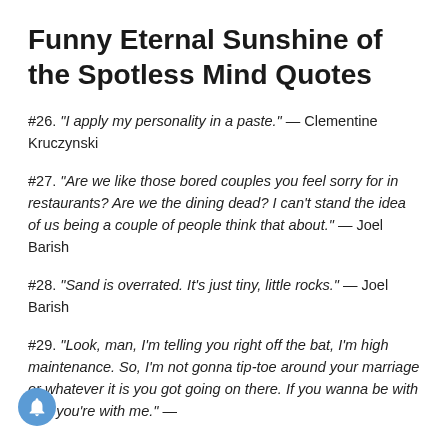Funny Eternal Sunshine of the Spotless Mind Quotes
#26. "I apply my personality in a paste." — Clementine Kruczynski
#27. "Are we like those bored couples you feel sorry for in restaurants? Are we the dining dead? I can't stand the idea of us being a couple of people think that about." — Joel Barish
#28. "Sand is overrated. It's just tiny, little rocks." — Joel Barish
#29. "Look, man, I'm telling you right off the bat, I'm high maintenance. So, I'm not gonna tip-toe around your marriage or whatever it is you got going on there. If you wanna be with me, you're with me." —